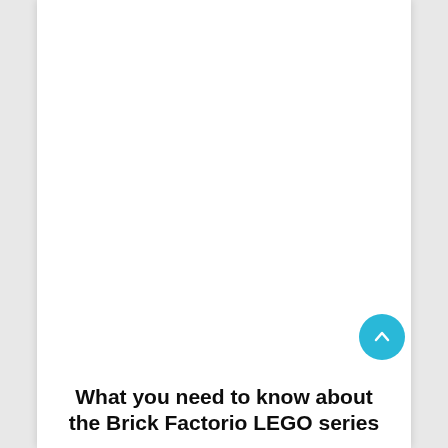What you need to know about the Brick Factorio LEGO series